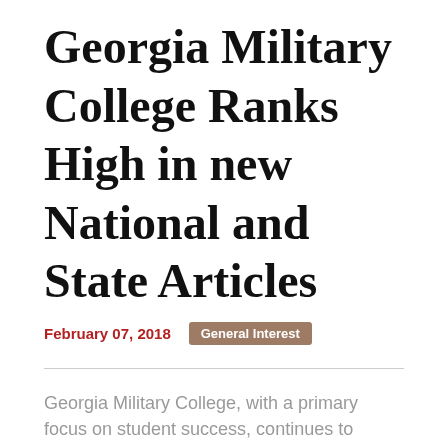Georgia Military College Ranks High in new National and State Articles
February 07, 2018
General Interest
Georgia Military College, with a primary focus on student success, continues to